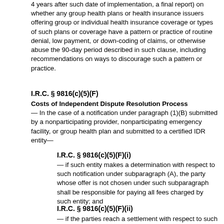4 years after such date of implementation, a final report) on whether any group health plans or health insurance issuers offering group or individual health insurance coverage or types of such plans or coverage have a pattern or practice of routine denial, low payment, or down-coding of claims, or otherwise abuse the 90-day period described in such clause, including recommendations on ways to discourage such a pattern or practice.
I.R.C. § 9816(c)(5)(F)
Costs of Independent Dispute Resolution Process — In the case of a notification under paragraph (1)(B) submitted by a nonparticipating provider, nonparticipating emergency facility, or group health plan and submitted to a certified IDR entity—
I.R.C. § 9816(c)(5)(F)(i)
— if such entity makes a determination with respect to such notification under subparagraph (A), the party whose offer is not chosen under such subparagraph shall be responsible for paying all fees charged by such entity; and
I.R.C. § 9816(c)(5)(F)(ii)
— if the parties reach a settlement with respect to such notification prior to such a determination, each party shall pay half of all fees charged by such entity, unless the parties otherwise agree.